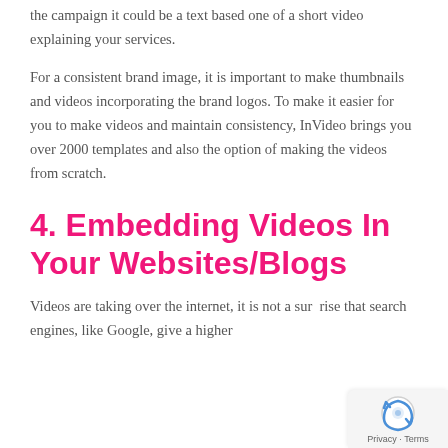the campaign it could be a text based one of a short video explaining your services.
For a consistent brand image, it is important to make thumbnails and videos incorporating the brand logos. To make it easier for you to make videos and maintain consistency, InVideo brings you over 2000 templates and also the option of making the videos from scratch.
4. Embedding Videos In Your Websites/Blogs
Videos are taking over the internet, it is not a surprise that search engines, like Google, give a higher